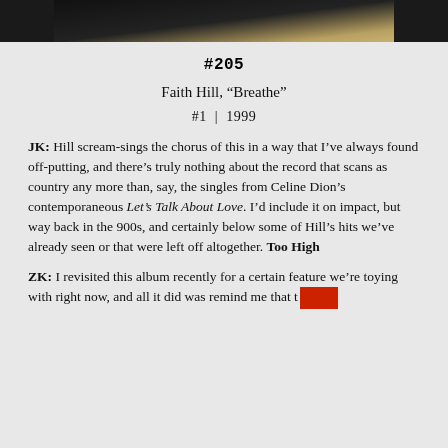[Figure (photo): Partial photo showing dark/black object at top, cropped]
#205
Faith Hill, “Breathe”
#1 | 1999
JK: Hill scream-sings the chorus of this in a way that I’ve always found off-putting, and there’s truly nothing about the record that scans as country any more than, say, the singles from Celine Dion’s contemporaneous Let’s Talk About Love. I’d include it on impact, but way back in the 900s, and certainly below some of Hill’s hits we’ve already seen or that were left off altogether. Too High
ZK: I revisited this album recently for a certain feature we’re toying with right now, and all it did was remind me that t…